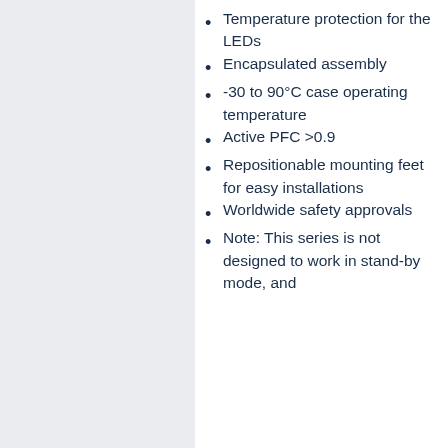Temperature protection for the LEDs
Encapsulated assembly
-30 to 90°C case operating temperature
Active PFC >0.9
Repositionable mounting feet for easy installations
Worldwide safety approvals
Note: This series is not designed to work in stand-by mode, and